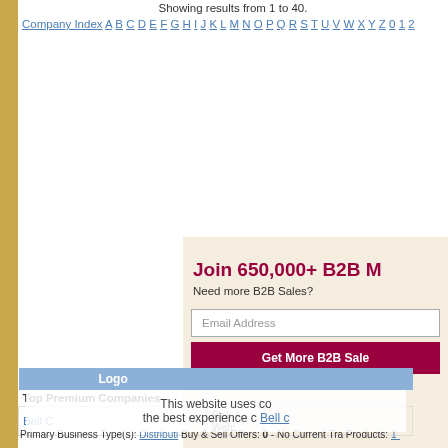Showing results from 1 to 40.
Company Index A B C D E F G H I J K L M N O P Q R S T U V W X Y Z 0 1 2
Join 650,000+ B2B M
Need more B2B Sales?
Email Address
Get More B2B Sale
| Logo |  |
| --- | --- |
| Top Premium Companies |  |
| Bell C | Bell A |
| Logo | Company Name |
This website uses co the best experience c
Primary Business Type(s): Distributi Buy & Sell Offers: 0 - No Current Tra Products: 1 Product on sale by Bel